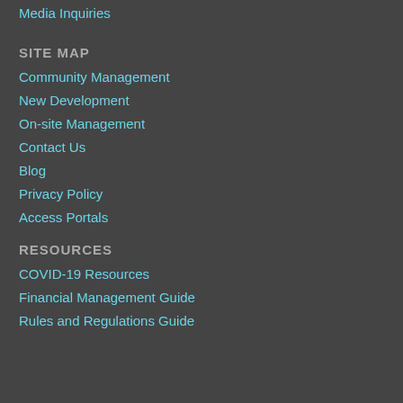Media Inquiries
SITE MAP
Community Management
New Development
On-site Management
Contact Us
Blog
Privacy Policy
Access Portals
RESOURCES
COVID-19 Resources
Financial Management Guide
Rules and Regulations Guide